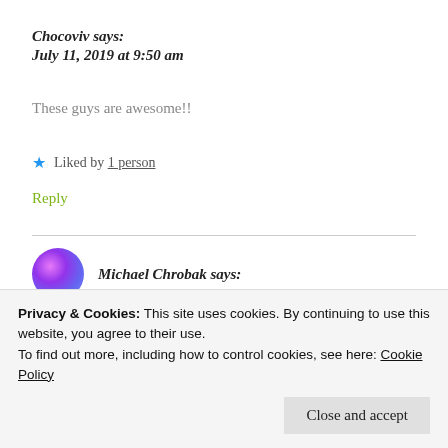Chocoviv says:
July 11, 2019 at 9:50 am
These guys are awesome!!
★ Liked by 1 person
Reply
Michael Chrobak says:
Privacy & Cookies: This site uses cookies. By continuing to use this website, you agree to their use.
To find out more, including how to control cookies, see here: Cookie Policy
Close and accept